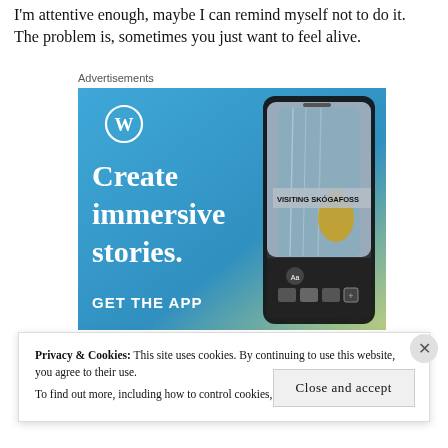I'm attentive enough, maybe I can remind myself not to do it. The problem is, sometimes you just want to feel alive.
Advertisements
[Figure (screenshot): WordPress app advertisement showing a smartphone with a travel photo of a waterfall (Skógafoss) and text 'Create immersive stories. GET THE APP' with WordPress logo]
Privacy & Cookies: This site uses cookies. By continuing to use this website, you agree to their use.
To find out more, including how to control cookies, see here: Cookie Policy
Close and accept